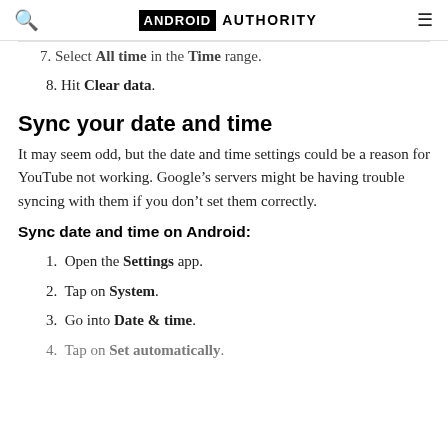ANDROID AUTHORITY
7. Select All time in the Time range.
8. Hit Clear data.
Sync your date and time
It may seem odd, but the date and time settings could be a reason for YouTube not working. Google’s servers might be having trouble syncing with them if you don’t set them correctly.
Sync date and time on Android:
1. Open the Settings app.
2. Tap on System.
3. Go into Date & time.
4. Tap on Set automatically.